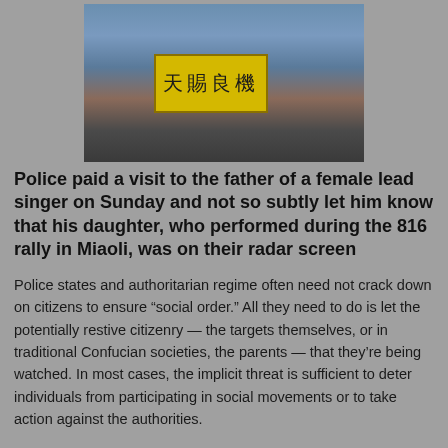[Figure (photo): Protest scene with people and a yellow sign with Chinese characters 天賜良機 on a stage or platform, crowd in background]
Police paid a visit to the father of a female lead singer on Sunday and not so subtly let him know that his daughter, who performed during the 816 rally in Miaoli, was on their radar screen
Police states and authoritarian regime often need not crack down on citizens to ensure “social order.” All they need to do is let the potentially restive citizenry — the targets themselves, or in traditional Confucian societies, the parents — that they’re being watched. In most cases, the implicit threat is sufficient to deter individuals from participating in social movements or to take action against the authorities.
Taiwan, of course, is not a police state, and it shed authoritarianism more than two decades ago. But even today, through a mix of antiquated regulations and a